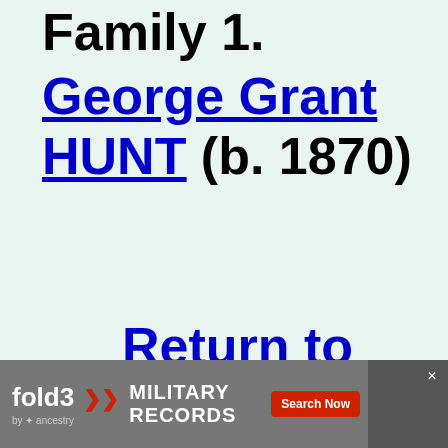Family 1.
George Grant HUNT (b. 1870)
Return to Index
[Figure (other): Fold3 by Ancestry advertisement banner for Military Records with Search Now button and soldier photo]